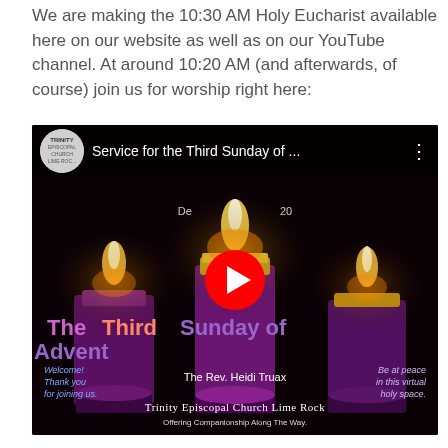We are making the 10:30 AM Holy Eucharist available here on our website as well as on our YouTube channel. At around 10:20 AM (and afterwards, of course) join us for worship right here:
[Figure (screenshot): YouTube video thumbnail showing three purple Advent candles on a dark background. The video title bar at top reads 'Service for the Third Sunday of ...' with the Trinity Episcopal Church Lime Rock logo. Overlay text reads 'The Third Sunday of Advent', 'The Rev. Heidi Truax', 'Trinity Episcopal Church Lime Rock', 'Offering Companionship Along The Way.' A red YouTube play button is centered over the image.]